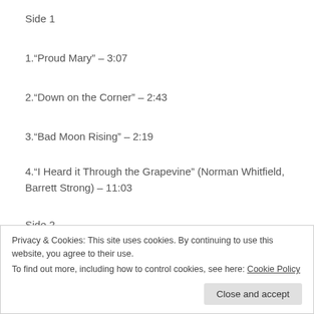Side 1
1.“Proud Mary” – 3:07
2.“Down on the Corner” – 2:43
3.“Bad Moon Rising” – 2:19
4.“I Heard it Through the Grapevine” (Norman Whitfield, Barrett Strong) – 11:03
Side 2
1.“The Midnight Special” (Traditional) – 4:11
Privacy & Cookies: This site uses cookies. By continuing to use this website, you agree to their use.
To find out more, including how to control cookies, see here: Cookie Policy